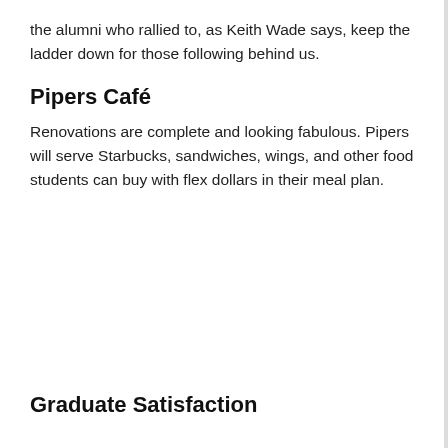the alumni who rallied to, as Keith Wade says, keep the ladder down for those following behind us.
Pipers Café
Renovations are complete and looking fabulous. Pipers will serve Starbucks, sandwiches, wings, and other food students can buy with flex dollars in their meal plan.
Graduate Satisfaction